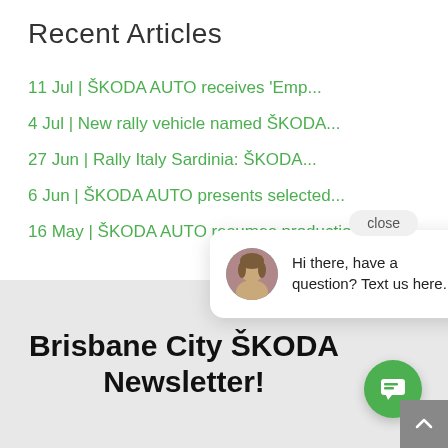Recent Articles
11 Jul | ŠKODA AUTO receives 'Emp...
4 Jul | New rally vehicle named ŠKODA...
27 Jun | Rally Italy Sardinia: ŠKODA...
6 Jun | ŠKODA AUTO presents selected...
16 May | ŠKODA AUTO resumes production...
[Figure (screenshot): Chat popup widget showing a woman avatar and text: Hi there, have a question? Text us here. With a close button.]
Brisbane City ŠKODA Newsletter!